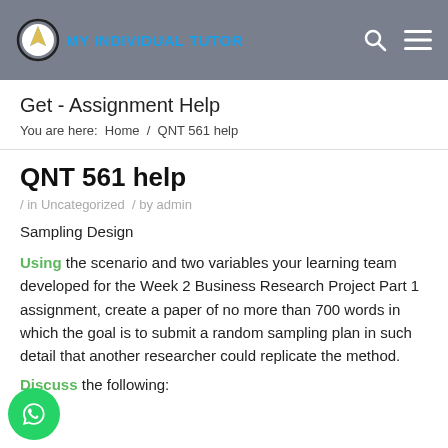MY INDIVIDUAL TUTOR
Get - Assignment Help
You are here:  Home  /  QNT 561 help
QNT 561 help
/ in Uncategorized  / by admin
Sampling Design
Using the scenario and two variables your learning team developed for the Week 2 Business Research Project Part 1 assignment, create a paper of no more than 700 words in which the goal is to submit a random sampling plan in such detail that another researcher could replicate the method.
Discuss the following: